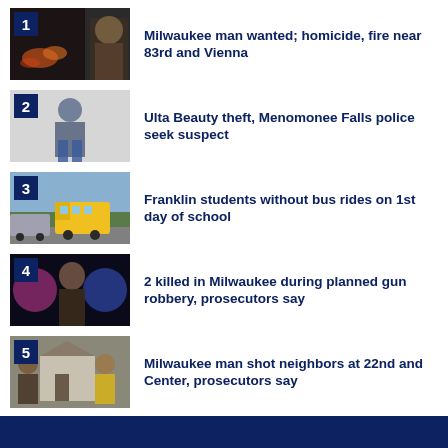1. Milwaukee man wanted; homicide, fire near 83rd and Vienna
2. Ulta Beauty theft, Menomonee Falls police seek suspect
3. Franklin students without bus rides on 1st day of school
4. 2 killed in Milwaukee during planned gun robbery, prosecutors say
5. Milwaukee man shot neighbors at 22nd and Center, prosecutors say